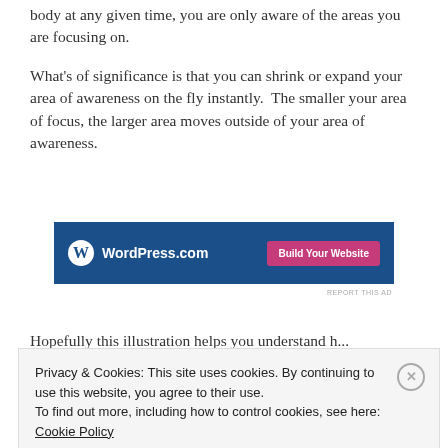body at any given time, you are only aware of the areas you are focusing on.
What's of significance is that you can shrink or expand your area of awareness on the fly instantly.  The smaller your area of focus, the larger area moves outside of your area of awareness.
[Figure (other): WordPress.com advertisement banner with blue background, WordPress logo and 'Build Your Website' pink button]
Hopefully this illustration helps you understand h...
Privacy & Cookies: This site uses cookies. By continuing to use this website, you agree to their use. To find out more, including how to control cookies, see here: Cookie Policy
Close and accept